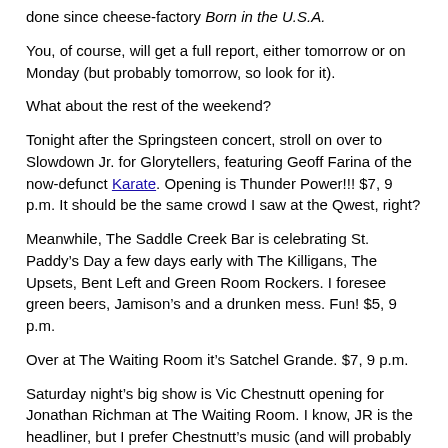done since cheese-factory Born in the U.S.A.
You, of course, will get a full report, either tomorrow or on Monday (but probably tomorrow, so look for it).
What about the rest of the weekend?
Tonight after the Springsteen concert, stroll on over to Slowdown Jr. for Glorytellers, featuring Geoff Farina of the now-defunct Karate. Opening is Thunder Power!!! $7, 9 p.m. It should be the same crowd I saw at the Qwest, right?
Meanwhile, The Saddle Creek Bar is celebrating St. Paddy’s Day a few days early with The Killigans, The Upsets, Bent Left and Green Room Rockers. I foresee green beers, Jamison’s and a drunken mess. Fun! $5, 9 p.m.
Over at The Waiting Room it’s Satchel Grande. $7, 9 p.m.
Saturday night’s big show is Vic Chestnutt opening for Jonathan Richman at The Waiting Room. I know, JR is the headliner, but I prefer Chestnutt’s music (and will probably be the only one in the room who does). Last time I saw him play live was at The Capitol Bar, probably around ‘96 or so, with Alex McManus accompanying him. $12, 9 p.m.
Over at O’Leaver’s it’s Bazooka Shootout, The Championship and a third band TBD, assuming that The Ointments aren’t going to play (Does anyone know how Reagan Roeder is doing?). $5, 9:30 p.m.